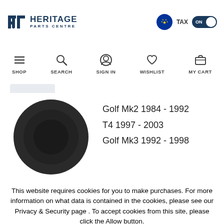Heritage Parts Centre — TAX ON — EU flag — navigation: SHOP, SEARCH, SIGN IN, WISHLIST, MY CART
[Figure (photo): Black circular car part (hub cap or steering wheel) on white background]
Golf Mk2 1984 - 1992
T4 1997 - 2003
Golf Mk3 1992 - 1998
This website requires cookies for you to make purchases. For more information on what data is contained in the cookies, please see our Privacy & Security page . To accept cookies from this site, please click the Allow button.
ACCEPT & CLOSE   FIND OUT MORE